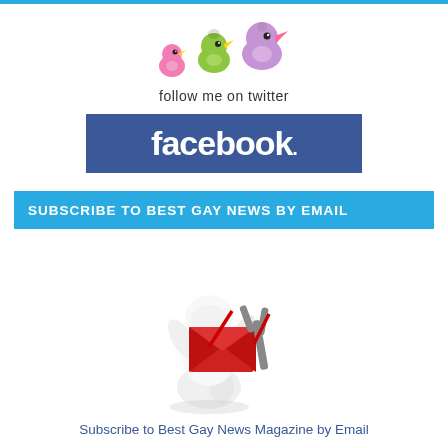[Figure (illustration): Twitter follow me badge with three birds (pink small, green medium, purple large) above text 'follow me on twitter']
[Figure (logo): Facebook logo - blue rectangle with white bold 'facebook.' text]
SUBSCRIBE TO BEST GAY NEWS BY EMAIL
[Figure (illustration): 3D white figure character holding a red envelope being launched by a red and grey slingshot]
Subscribe to Best Gay News Magazine by Email